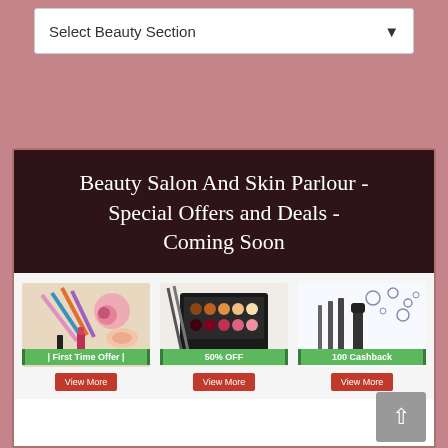[Figure (screenshot): Dropdown selector with label 'Select Beauty Section' and a down arrow]
Beauty Salon And Skin Parlour - Special Offers and Deals - Coming Soon
[Figure (infographic): Three product offer panels: 'First Time Offer' with makeup brushes/cosmetics, '50% OFF' with makeup palette, '100 Cashback' with hair styling tools. Each has a green banner label and a red 'View More' button.]